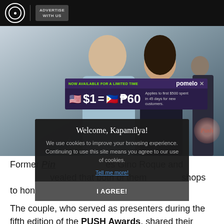ABS-CBN | ADVERTISE WITH US
[Figure (photo): Hero photo of two people (man in light blue suit and woman) at an event, with a Pomelo currency exchange advertisement overlay showing $1 = P60]
Welcome, Kapamilya!
We use cookies to improve your browsing experience. Continuing to use this site means you agree to our use of cookies.
Tell me more!
I AGREE!
Former Pin[...] es Gino Roque and [...] vealed that both of them [...] shops to hone their s[...]
The couple, who served as presenters during the fifth edition of the PUSH Awards, shared their experience hosting for the event.